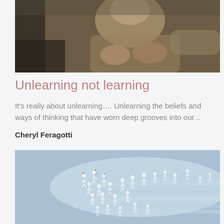[Figure (photo): Sepia-toned photo of a person, appears to be reading or working, cropped to show upper body and hands.]
Unlearning not learning
It's really about unlearning…. Unlearning the beliefs and ways of thinking that have worn deep grooves into our...
Cheryl Feragotti
[Figure (illustration): Blue-toned illustration with white walking human figures arranged in spreading/flowing pattern against a light blue and grey background.]